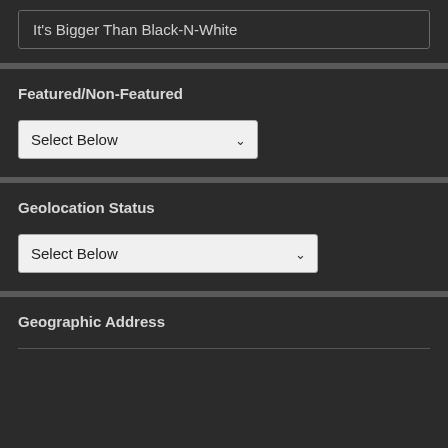It's Bigger Than Black-N-White
Featured/Non-Featured
Select Below
Geolocation Status
Select Below
Geographic Address